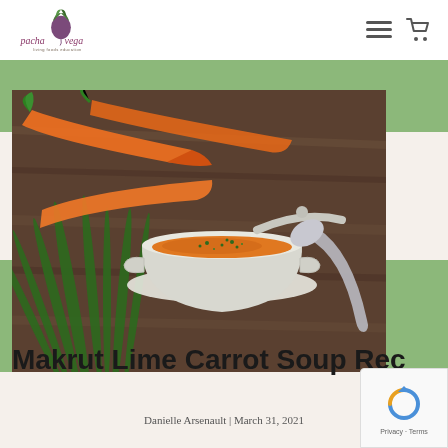pachavega - living foods education
[Figure (photo): A white ceramic pot filled with orange carrot soup garnished with herbs, surrounded by fresh whole carrots and green chives on a wooden surface, with a silver spoon beside it.]
Makrut Lime Carrot Soup Rec…
Danielle Arsenault | March 31, 2021